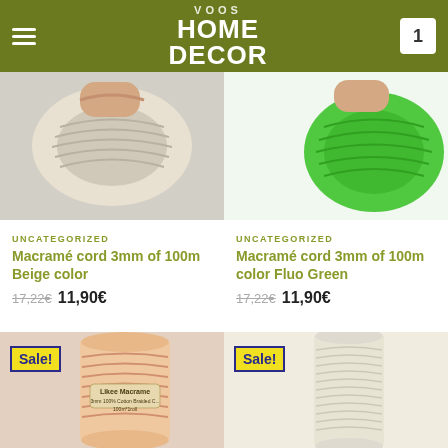HOME DECOR
[Figure (photo): Beige macrame cord spool, top-left product image]
[Figure (photo): Fluo Green macrame cord, top-right product image]
UNCATEGORIZED
Macramé cord 3mm of 100m Beige color
17,22€  11,90€
UNCATEGORIZED
Macramé cord 3mm of 100m color Fluo Green
17,22€  11,90€
[Figure (photo): Sale! Peach/salmon colored macrame cord spool with Likee Macrame label, 3mm 100% Cotton Braided, 100m*1roll]
[Figure (photo): Sale! Natural/cream colored macrame cord spool]